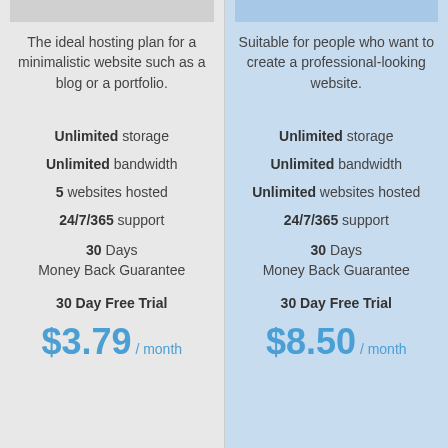The ideal hosting plan for a minimalistic website such as a blog or a portfolio.
Unlimited storage
Unlimited bandwidth
5 websites hosted
24/7/365 support
30 Days Money Back Guarantee
30 Day Free Trial
$3.79 / month
Suitable for people who want to create a professional-looking website.
Unlimited storage
Unlimited bandwidth
Unlimited websites hosted
24/7/365 support
30 Days Money Back Guarantee
30 Day Free Trial
$8.50 / month